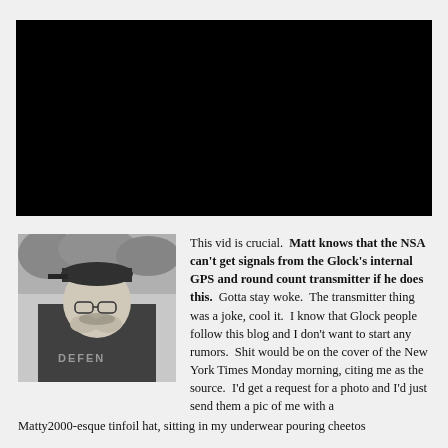[Figure (other): Black video embed area, fully black rectangle]
[Figure (photo): Black and white photo of a man wearing a cap and dark hoodie with 'DEFEND' text, holding his hands to his mouth, outdoors with trees in background]
This vid is crucial.  Matt knows that the NSA can't get signals from the Glock's internal GPS and round count transmitter if he does this.  Gotta stay woke.  The transmitter thing was a joke, cool it.  I know that Glock people follow this blog and I don't want to start any rumors.  Shit would be on the cover of the New York Times Monday morning, citing me as the source.  I'd get a request for a photo and I'd just send them a pic of me with a Matty2000-esque tinfoil hat, sitting in my underwear pouring cheetos